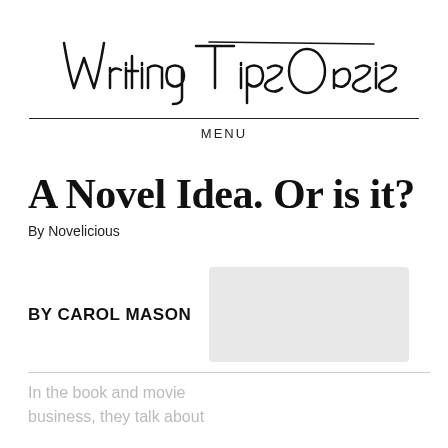[Figure (logo): Writing Tips Oasis handwritten script logo]
MENU
A Novel Idea. Or is it?
By Novelicious
BY CAROL MASON
In the book and movie business, they talk about